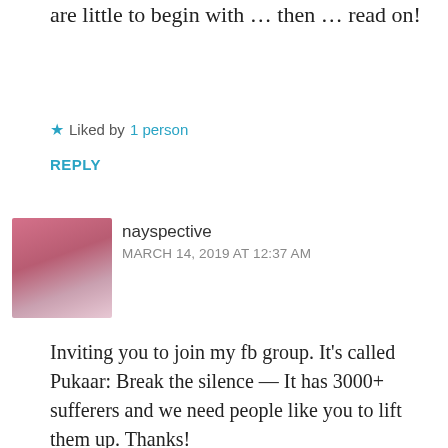are little to begin with … then … read on!
★ Liked by 1 person
REPLY
nayspective
MARCH 14, 2019 AT 12:37 AM
[Figure (photo): Profile photo of nayspective, person in front of pink floral background]
Inviting you to join my fb group. It's called Pukaar: Break the silence — It has 3000+ sufferers and we need people like you to lift them up. Thanks!
★ Liked by 1 person
REPLY
[Figure (photo): Partial avatar image at bottom of page]